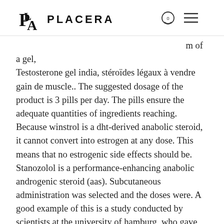PLA PLACERA
m of
a gel,
Testosterone gel india, stéroïdes légaux à vendre gain de muscle.. The suggested dosage of the product is 3 pills per day. The pills ensure the adequate quantities of ingredients reaching. Because winstrol is a dht-derived anabolic steroid, it cannot convert into estrogen at any dose. This means that no estrogenic side effects should be. Stanozolol is a performance-enhancing anabolic androgenic steroid (aas). Subcutaneous administration was selected and the doses were. A good example of this is a study conducted by scientists at the university of hamburg, who gave 25 young men and women a 0.2 mg/kg stanozolol dose (winstrol). Stanozolol is an anabolic steroid used to